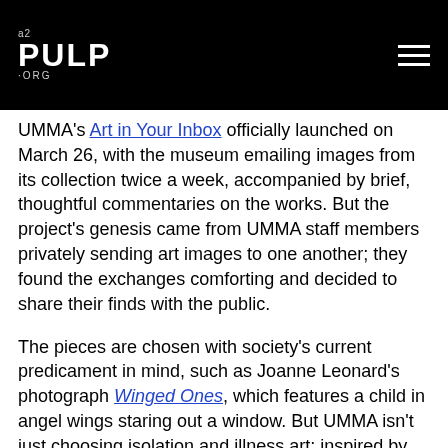A2 PULP.ORG
UMMA's Art in Your Inbox officially launched on March 26, with the museum emailing images from its collection twice a week, accompanied by brief, thoughtful commentaries on the works. But the project's genesis came from UMMA staff members privately sending art images to one another; they found the exchanges comforting and decided to share their finds with the public.
The pieces are chosen with society's current predicament in mind, such as Joanne Leonard's photograph Winged Ones, which features a child in angel wings staring out a window. But UMMA isn't just choosing isolation and illness art; inspired by Netflix's runaway hit Tiger King, one email featured the Tigress and Cubs scroll by Konoshima Ôkoku,